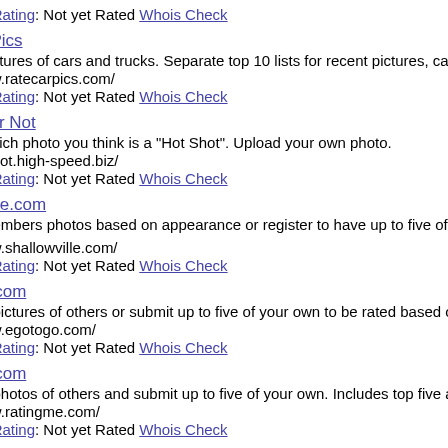Rating: Not yet Rated Whois Check
r Pics
pictures of cars and trucks. Separate top 10 lists for recent pictures, cars and tr...
www.ratecarpics.com/
Rating: Not yet Rated Whois Check
t or Not
which photo you think is a "Hot Shot". Upload your own photo.
tshot.high-speed.biz/
Rating: Not yet Rated Whois Check
ville.com
members photos based on appearance or register to have up to five of your own...
www.shallowville.com/
Rating: Not yet Rated Whois Check
o.com
pictures of others or submit up to five of your own to be rated based on appea...
www.egotogo.com/
Rating: Not yet Rated Whois Check
e.com
photos of others and submit up to five of your own. Includes top five and botto...
www.ratingme.com/
Rating: Not yet Rated Whois Check
and Beasts